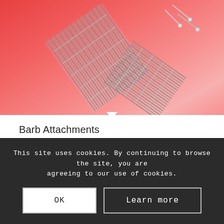[Figure (photo): Product image of Barb Attachments — metallic barb/pin attachments fanned out on a red gradient background]
Barb Attachments
£8.90 ex. VAT
This site uses cookies. By continuing to browse the site, you are agreeing to our use of cookies.
OK
Learn more